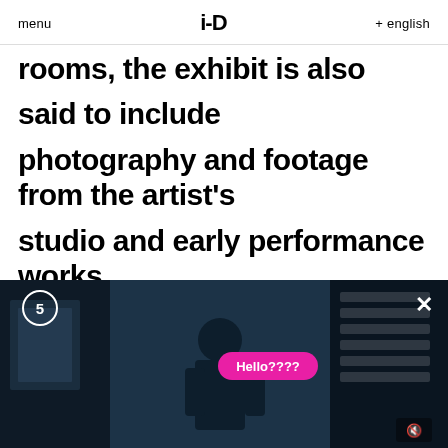menu   i-D   + english
rooms, the exhibit is also said to include photography and footage from the artist's studio and early performance works.

In a statement about the anniversary celebrations, the Tate Modern's director Frances Morris said that artists like Kusama "not only represent our commitment to great artists with
[Figure (screenshot): Video player overlay showing a dark scene with a person standing in a room with shelves/artwork in background. A pink speech bubble says 'Hello????' A badge showing '5' is in the top left, an X close button top right, and a mute icon bottom right.]